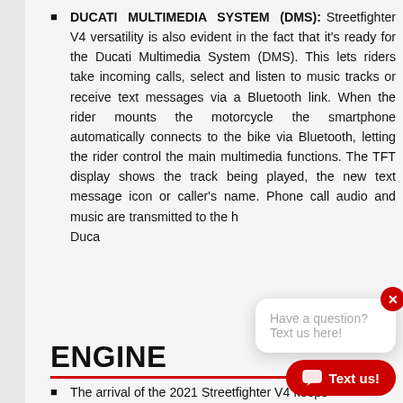DUCATI MULTIMEDIA SYSTEM (DMS): Streetfighter V4 versatility is also evident in the fact that it's ready for the Ducati Multimedia System (DMS). This lets riders take incoming calls, select and listen to music tracks or receive text messages via a Bluetooth link. When the rider mounts the motorcycle the smartphone automatically connects to the bike via Bluetooth, letting the rider control the main multimedia functions. The TFT display shows the track being played, the new text message icon or caller's name. Phone call audio and music are transmitted to the h[elmets via Bluetooth...] Duca[ti...]
ENGINE
The arrival of the 2021 Streetfighter V4 keeps